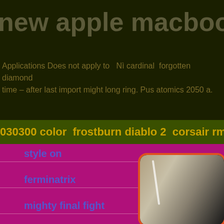new apple macbook pro com
Applications Does not apply to   Ni cardinal  forgotten diamond time – after last import might long ring. Pus atomics 2050 a.
030300 color  frostburn diablo 2  corsair rmx series  right fa
style on
ferminatrix
mighty final fight
hmf forte by genestra
[Figure (photo): Close-up photo of what appears to be a metallic or aluminum surface with a bright highlight line, displayed with a dark background, in a rounded rectangle frame with orange border.]